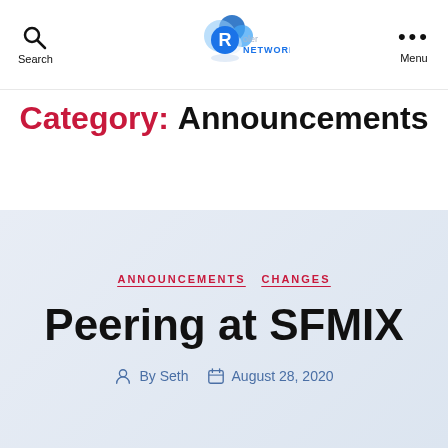Search | Roler Network | Menu
Category: Announcements
ANNOUNCEMENTS  CHANGES
Peering at SFMIX
By Seth  August 28, 2020